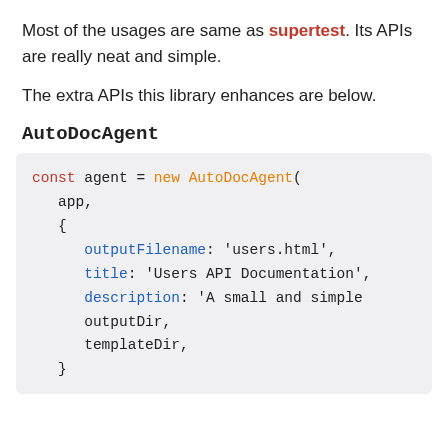Most of the usages are same as supertest. Its APIs are really neat and simple.
The extra APIs this library enhances are below.
AutoDocAgent
[Figure (screenshot): Code block showing: const agent = new AutoDocAgent( app, { outputFilename: 'users.html', title: 'Users API Documentation', description: 'A small and simple outputDir, templateDir, }]